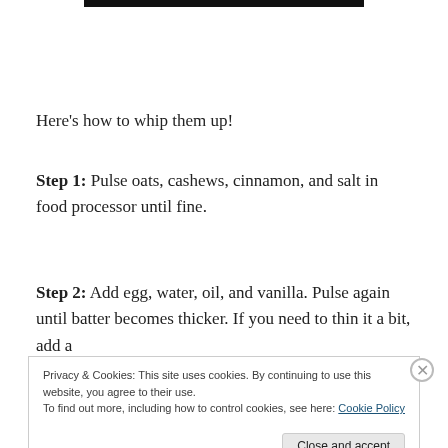[Figure (photo): Partial image visible at top of page, appears to be a food photo (dark background)]
Here’s how to whip them up!
Step 1: Pulse oats, cashews, cinnamon, and salt in food processor until fine.
Step 2: Add egg, water, oil, and vanilla. Pulse again until batter becomes thicker. If you need to thin it a bit, add a
Privacy & Cookies: This site uses cookies. By continuing to use this website, you agree to their use.
To find out more, including how to control cookies, see here: Cookie Policy
Close and accept